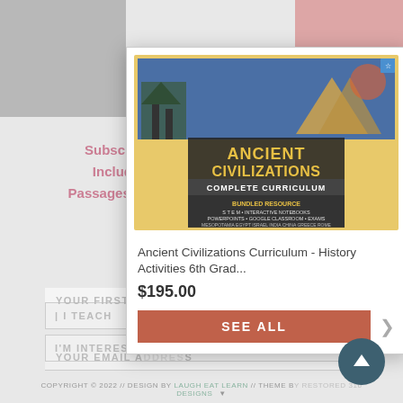Subscribe to receive tons of Freebies! Includes STEM Challenges, Reading Passages, Lesson Plans, Activities, & More!
[Figure (screenshot): Product card popup showing 'Ancient Civilizations Complete Curriculum - Bundled Resource' book cover with images of ancient temples, pyramids, and artifacts. Card includes product title, price $195.00, and a 'SEE ALL' button.]
Ancient Civilizations Curriculum - History Activities 6th Grad...
$195.00
SEE ALL
I TEACH
COPYRIGHT © 2022 // DESIGN BY LAUGH EAT LEARN // THEME BY RESTORED 316 YOU DESIGNS
I'M INTERESTED IN...